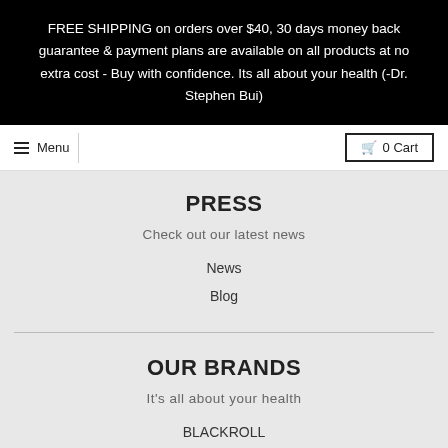FREE SHIPPING on orders over $40, 30 days money back guarantee & payment plans are available on all products at no extra cost - Buy with confidence. Its all about your health (-Dr. Stephen Bui)
Menu | 0 Cart
PRESS
Check out our latest news
News
Blog
OUR BRANDS
It's all about your health
BLACKROLL
BOODY
Activelife